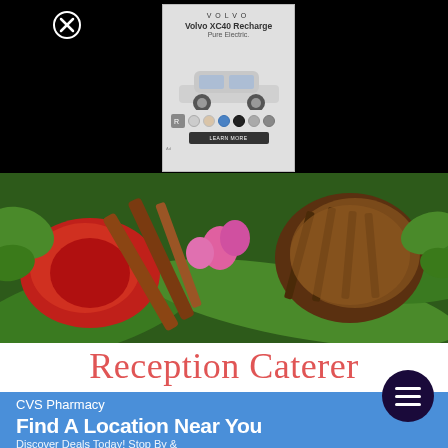[Figure (screenshot): Black background with close (X) button in top left and a Volvo XC40 Recharge advertisement popup showing car image, color swatches, and brand text]
[Figure (photo): Colorful tropical food spread with flowers, cinnamon sticks, fruit and grilled skewers on banana leaves]
Reception Caterer
[Figure (screenshot): CVS Pharmacy advertisement embed with blue background showing 'Find A Location Near You' and 'Discover Deals Today! Stop By & Shop All Items At CVS®']